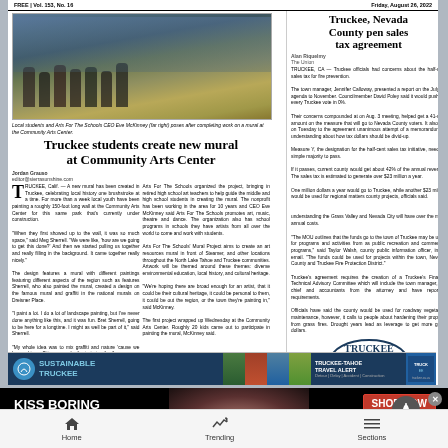FREE | Vol. 153, No. 16 | Friday, August 26, 2022
[Figure (photo): Local students and Arts For The Schools CEO Eve McKinney (far right) pose after completing work on a mural at the Community Arts Center.]
Local students and Arts For The Schools CEO Eve McKinney (far right) poses after completing work on a mural at the Community Arts Center.
Truckee students create new mural at Community Arts Center
TRUCKEE, Calif. — A new mural has been created in Truckee, celebrating local history one brushstroke at a time. For more than a week local youth have been painting a roughly 150-foot long wall at the Community Arts Center for the same park that's currently under construction.
Truckee, Nevada County pen sales tax agreement
TRUCKEE, CA — Truckee officials had concerns about the half-cent sales tax for free prevention. The town manager, Jennifer Calloway, presented a report on the July 14 agenda to November. Councilmember David Poley said it would push for every Truckee vote to 0%.
[Figure (logo): Truckee town seal/logo]
[Figure (photo): Sustainable Truckee / Truckee-Tahoe Travel Alert advertisement banner]
[Figure (advertisement): Macy's Kiss Boring Lips Goodbye advertisement with red lipstick model and Shop Now button]
Home | Trending | Sections